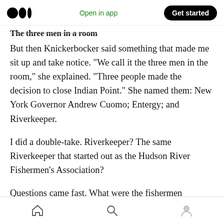Medium logo | Open in app | Get started
The three men in a room
But then Knickerbocker said something that made me sit up and take notice. “We call it the three men in the room,” she explained. “Three people made the decision to close Indian Point.” She named them: New York Governor Andrew Cuomo; Entergy; and Riverkeeper.
I did a double-take. Riverkeeper? The same Riverkeeper that started out as the Hudson River Fishermen’s Association?
Questions came fast. What were the fishermen
Home | Search | Profile